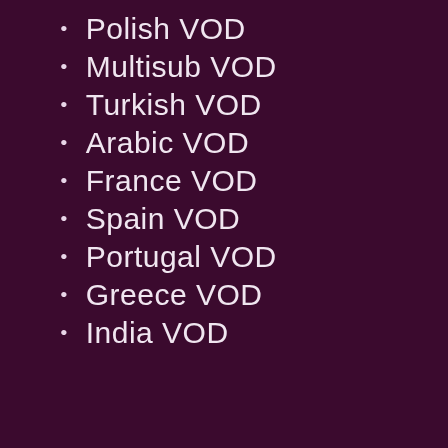Polish VOD
Multisub VOD
Turkish VOD
Arabic VOD
France VOD
Spain VOD
Portugal VOD
Greece VOD
India VOD